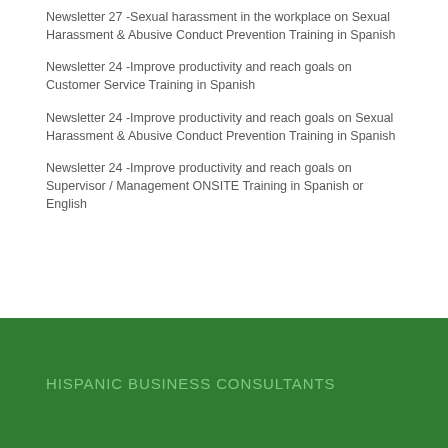Newsletter 27 -Sexual harassment in the workplace on Sexual Harassment & Abusive Conduct Prevention Training in Spanish
Newsletter 24 -Improve productivity and reach goals on Customer Service Training in Spanish
Newsletter 24 -Improve productivity and reach goals on Sexual Harassment & Abusive Conduct Prevention Training in Spanish
Newsletter 24 -Improve productivity and reach goals on Supervisor / Management ONSITE Training in Spanish or English
HISPANIC BUSINESS CONSULTANTS